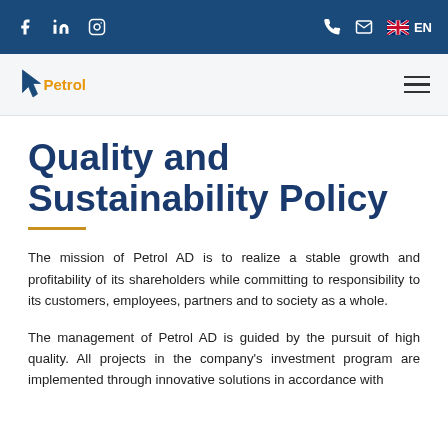f  in  [instagram]  [phone]  [mail]  🇬🇧 EN
[Figure (logo): Petrol AD company logo with stylized arrow and orange text]
Quality and Sustainability Policy
The mission of Petrol AD is to realize a stable growth and profitability of its shareholders while committing to responsibility to its customers, employees, partners and to society as a whole.
The management of Petrol AD is guided by the pursuit of high quality. All projects in the company's investment program are implemented through innovative solutions in accordance with